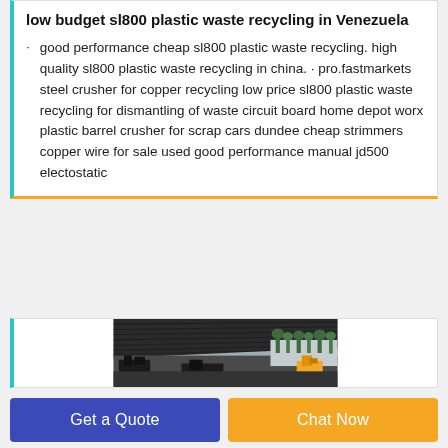low budget sl800 plastic waste recycling in Venezuela
good performance cheap sl800 plastic waste recycling. high quality sl800 plastic waste recycling in china. · pro.fastmarkets steel crusher for copper recycling low price sl800 plastic waste recycling for dismantling of waste circuit board home depot worx plastic barrel crusher for scrap cars dundee cheap strimmers copper wire for sale used good performance manual jd500 electostatic
[Figure (photo): Outdoor industrial site with a metal roof/canopy structure, machinery visible underneath. Background shows trees and cloudy sky.]
Get a Quote
Chat Now